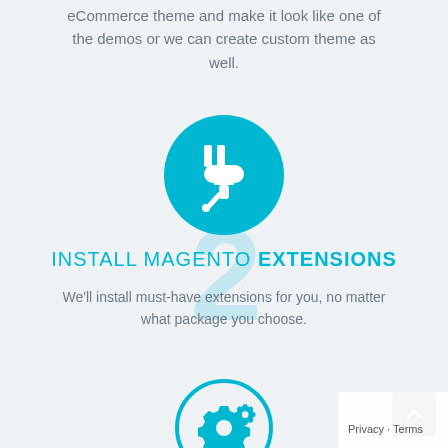eCommerce theme and make it look like one of the demos or we can create custom theme as well.
[Figure (illustration): Teal filled circle with white power plug icon]
INSTALL MAGENTO EXTENSIONS
We'll install must-have extensions for you, no matter what package you choose.
[Figure (illustration): Teal outlined circle with teal gear/settings icons inside]